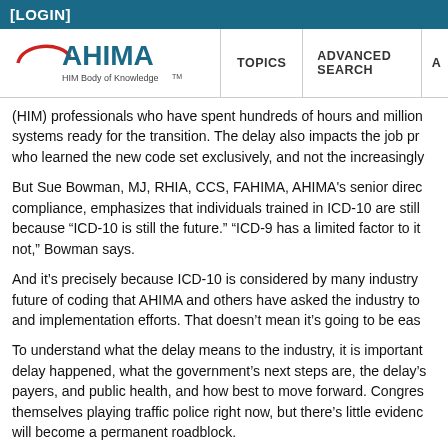[LOGIN]
[Figure (logo): AHIMA logo with text 'HIM Body of Knowledge TM']
(HIM) professionals who have spent hundreds of hours and millions getting their systems ready for the transition. The delay also impacts the job prospects of coders who learned the new code set exclusively, and not the increasingly...
But Sue Bowman, MJ, RHIA, CCS, FAHIMA, AHIMA's senior director of coding and compliance, emphasizes that individuals trained in ICD-10 are still in good shape, because “ICD-10 is still the future.” “ICD-9 has a limited factor to it; ICD-10 does not,” Bowman says.
And it’s precisely because ICD-10 is considered by many industry experts to be the future of coding that AHIMA and others have asked the industry to continue its training and implementation efforts. That doesn’t mean it’s going to be easy...
To understand what the delay means to the industry, it is important to know why the delay happened, what the government’s next steps are, the delay’s impact on providers, payers, and public health, and how best to move forward. Congress members find themselves playing traffic police right now, but there’s little evidence that this delay will become a permanent roadblock.
New Compliance Date Set for October 2015